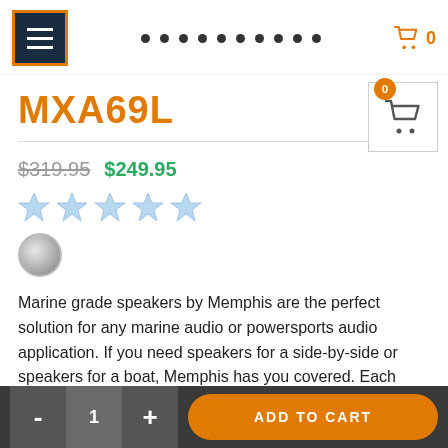Navigation header with hamburger menu, dot indicators, and cart (0)
MXA69L
$319.95  $249.95
[Figure (illustration): Five light-blue star rating icons]
[Figure (illustration): Gray/silver circular color swatch selector]
Marine grade speakers by Memphis are the perfect solution for any marine audio or powersports audio application. If you need speakers for a side-by-side or speakers for a boat, Memphis has you covered. Each speakers includes both white and gunmetal grills allowing you to match your vehicle without the need to
- 1 + ADD TO CART